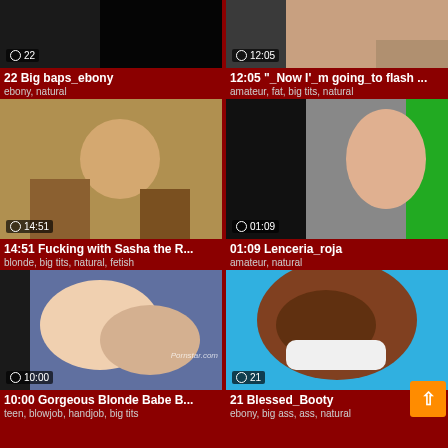[Figure (screenshot): Video thumbnail: dark image, '22 Big baps_ebony', tags: ebony, natural]
[Figure (screenshot): Video thumbnail: '12:05 _Now I_m going_to flash ...', tags: amateur, fat, big tits, natural]
[Figure (screenshot): Video thumbnail: '14:51 Fucking with Sasha the R...', tags: blonde, big tits, natural, fetish]
[Figure (screenshot): Video thumbnail: '01:09 Lenceria_roja', tags: amateur, natural]
[Figure (screenshot): Video thumbnail: '10:00 Gorgeous Blonde Babe B...', tags: teen, blowjob, handjob, big tits]
[Figure (screenshot): Video thumbnail: '21 Blessed_Booty', tags: ebony, big ass, ass, natural]